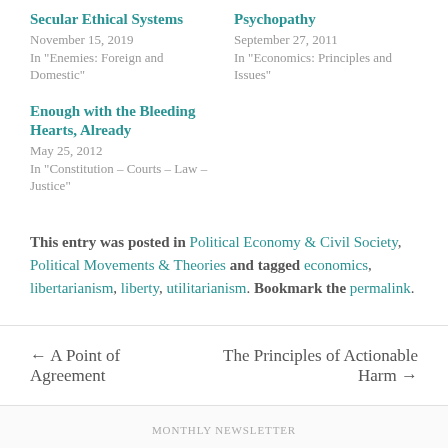Secular Ethical Systems
November 15, 2019
In "Enemies: Foreign and Domestic"
Psychopathy
September 27, 2011
In "Economics: Principles and Issues"
Enough with the Bleeding Hearts, Already
May 25, 2012
In "Constitution – Courts – Law – Justice"
This entry was posted in Political Economy & Civil Society, Political Movements & Theories and tagged economics, libertarianism, liberty, utilitarianism. Bookmark the permalink.
← A Point of Agreement
The Principles of Actionable Harm →
MONTHLY NEWSLETTER